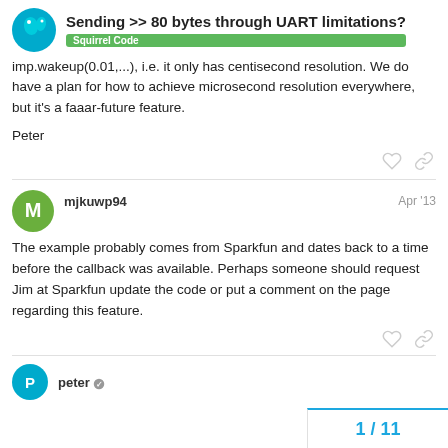Sending >> 80 bytes through UART limitations? | Squirrel Code
imp.wakeup(0.01,...), i.e. it only has centisecond resolution. We do have a plan for how to achieve microsecond resolution everywhere, but it's a faaar-future feature.
Peter
mjkuwp94 Apr '13
The example probably comes from Sparkfun and dates back to a time before the callback was available. Perhaps someone should request Jim at Sparkfun update the code or put a comment on the page regarding this feature.
peter